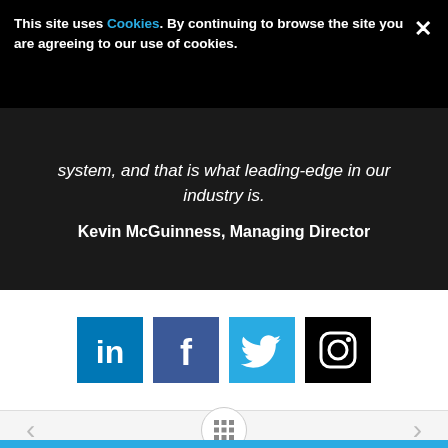This site uses Cookies. By continuing to browse the site you are agreeing to our use of cookies.
system, and that is what leading-edge in our industry is.
Kevin McGuinness, Managing Director
[Figure (infographic): Four social media icons: LinkedIn (blue), Facebook (dark blue/purple), Twitter (light blue), Instagram (black)]
[Figure (infographic): Navigation bar with left arrow, grid/home icon in circle, and right arrow, with vertical divider line]